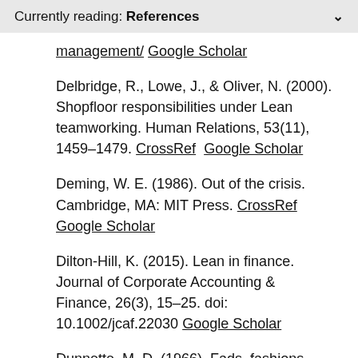Currently reading: References
management/ Google Scholar
Delbridge, R., Lowe, J., & Oliver, N. (2000). Shopfloor responsibilities under Lean teamworking. Human Relations, 53(11), 1459–1479. CrossRef  Google Scholar
Deming, W. E. (1986). Out of the crisis. Cambridge, MA: MIT Press. CrossRef  Google Scholar
Dilton-Hill, K. (2015). Lean in finance. Journal of Corporate Accounting & Finance, 26(3), 15–25. doi: 10.1002/jcaf.22030 Google Scholar
Dunnette, M. D. (1966). Fads, fashions,